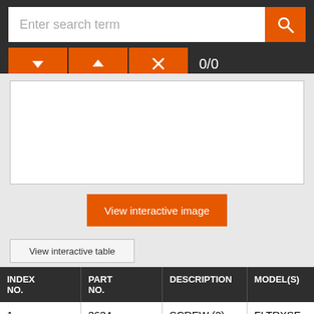[Figure (screenshot): Search bar UI with orange search button and navigation controls (down arrow, up arrow, X) with result count 0/0]
[Figure (screenshot): White empty image box area]
View interactive image
View interactive table
| INDEX NO. | PART NO. | DESCRIPTION | MODEL(S) |
| --- | --- | --- | --- |
| 1 | 3634 | SCREW (2) | FLTRXSE |
| 2 | 4826 | SCREW (2) | FLTRXSE |